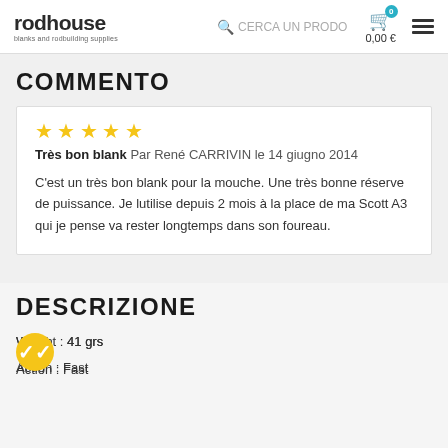rodhouse blanks and rodbuilding supplies | CERCA UN PRODO | 0,00 €
COMMENTO
★★★★★ Très bon blank Par René CARRIVIN le 14 giugno 2014

C'est un très bon blank pour la mouche. Une très bonne réserve de puissance. Je lutilise depuis 2 mois à la place de ma Scott A3 qui je pense va rester longtemps dans son foureau.
DESCRIZIONE
Weight : 41 grs
Action : Fast